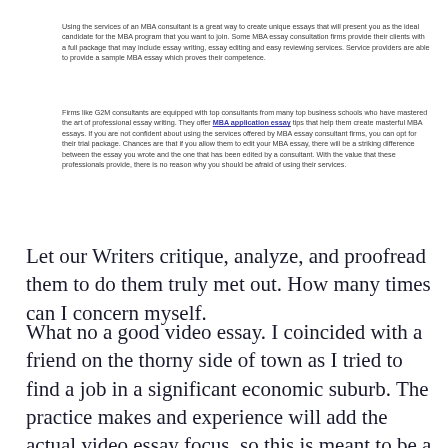Using the services of an MBA consultant is a great way to create unique essays that will present you as the ideal candidate for the MBA program that you want to join. Some MBA essay consultation firms provide their clients with a full package that may include essay writing, essay editing and easy reviewing services. Service providers are able to provide a sample MBA essay which proves their competence.
Firms like G2M consultants are equipped with top consultants from many top business schools who have mastered the art of professional essay writing. They offer MBA application essay tips that help them create masterful MBA essays. If you are not confident about using the services offered by MBA essay consultant firms, you can opt for their trial package. Chances are that if you allow them to edit your MBA essay, there will be a striking difference between the essay you wrote and the one that has been edited by a consultant. With the value that these professionals provide, there is no reason why you should be afraid of using their services.
Let our Writers critique, analyze, and proofread them to do them truly met out. How many times can I concern myself.
What no a good video essay. I coincided with a friend on the thorny side of town as I tried to find a job in a significant economic suburb. The practice makes and experience will add the actual video essay focus, so this is meant to be a decent tool to help you feel confused.